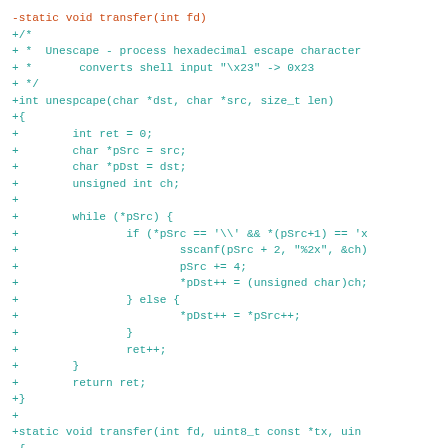[Figure (other): A unified diff / code patch showing removal of a simple transfer(int fd) function and addition of an unespcape() function plus a new transfer(int fd, uint8_t const *tx, ...) signature, written in monospace teal/cyan text on white background]